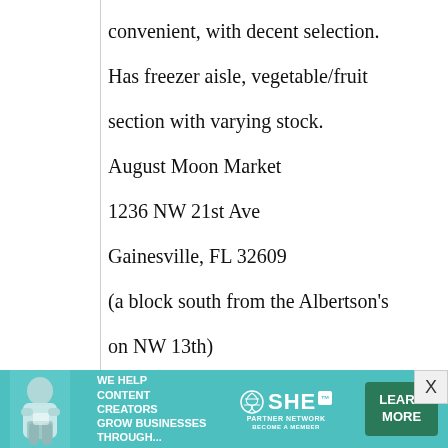convenient, with decent selection. Has freezer aisle, vegetable/fruit section with varying stock.
August Moon Market
1236 NW 21st Ave
Gainesville, FL 32609
(a block south from the Albertson's on NW 13th)
(352) 373-7866
General Asian market. Has freezer aisle, vegetable/fruits section,
[Figure (infographic): Advertisement banner for SHE Partner Network: teal background, woman with laptop on left, bold text 'WE HELP CONTENT CREATORS GROW BUSINESSES THROUGH...', SHE logo in center, green 'LEARN MORE' button on right.]